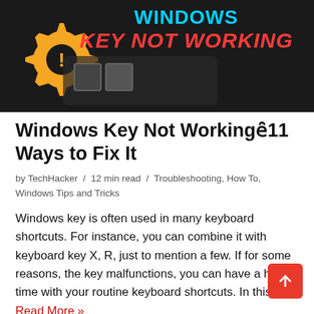[Figure (illustration): Hero banner image showing a dark background with a yellow warning gear icon on the left and bold text 'WINDOWS KEY NOT WORKING' in cyan and red on the right.]
Windows Key Not Working 11 Ways to Fix It
by TechHacker / 12 min read / Troubleshooting, How To, Windows Tips and Tricks
Windows key is often used in many keyboard shortcuts. For instance, you can combine it with keyboard key X, R, just to mention a few. If for some reasons, the key malfunctions, you can have a hard time with your routine keyboard shortcuts. In this... Read More »